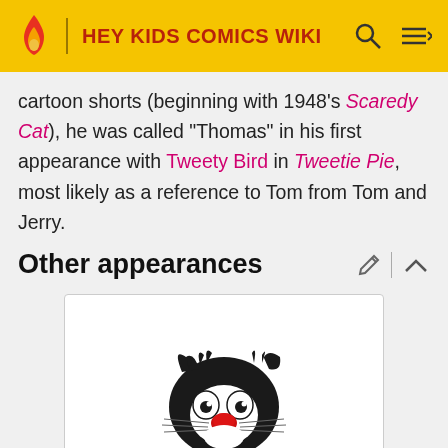HEY KIDS COMICS WIKI
cartoon shorts (beginning with 1948's Scaredy Cat), he was called "Thomas" in his first appearance with Tweety Bird in Tweetie Pie, most likely as a reference to Tom from Tom and Jerry.
Other appearances
[Figure (illustration): Sylvester the Cat from Looney Tunes, a black and white cartoon cat with a red nose, shown from upper body, looking at the viewer with a grinning expression and arms crossed]